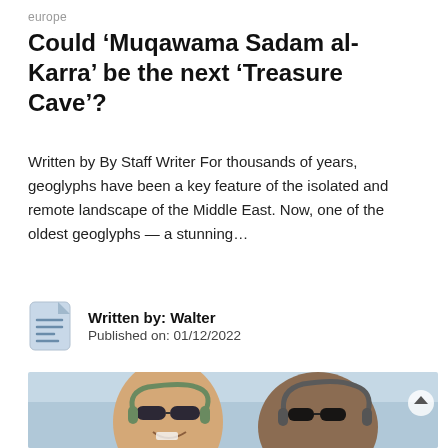europe
Could ‘Muqawama Sadam al-Karra’ be the next ‘Treasure Cave’?
Written by By Staff Writer For thousands of years, geoglyphs have been a key feature of the isolated and remote landscape of the Middle East. Now, one of the oldest geoglyphs — a stunning…
Written by: Walter
Published on: 01/12/2022
[Figure (photo): Two people wearing aviation headsets and sunglasses, photographed inside an aircraft cockpit. One person is smiling at the camera.]